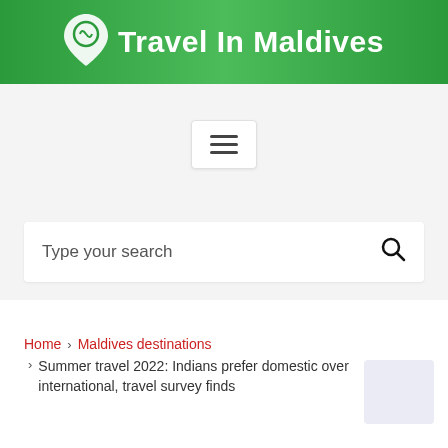Travel In Maldives
[Figure (other): Hamburger menu button icon with three horizontal lines]
Type your search
Home › Maldives destinations › Summer travel 2022: Indians prefer domestic over international, travel survey finds